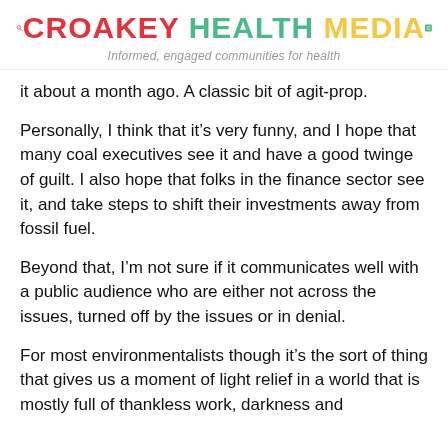CROAKEY HEALTH MEDIA — Informed, engaged communities for health
it about a month ago. A classic bit of agit-prop.
Personally, I think that it’s very funny, and I hope that many coal executives see it and have a good twinge of guilt. I also hope that folks in the finance sector see it, and take steps to shift their investments away from fossil fuel.
Beyond that, I’m not sure if it communicates well with a public audience who are either not across the issues, turned off by the issues or in denial.
For most environmentalists though it’s the sort of thing that gives us a moment of light relief in a world that is mostly full of thankless work, darkness and